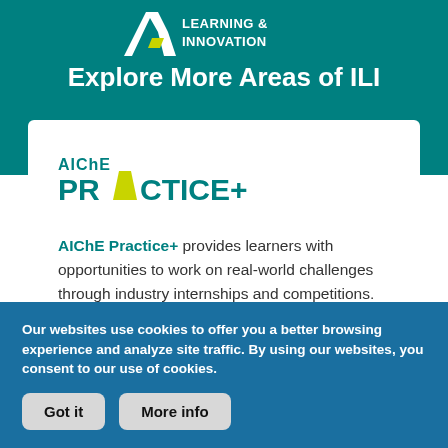[Figure (logo): AIChE Learning & Innovation logo with stylized A and chevron mark, white text on teal background]
Explore More Areas of ILI
[Figure (logo): AIChE PRACTICE+ logo in teal with yellow chevron replacing the A in PRACTICE]
AIChE Practice+ provides learners with opportunities to work on real-world challenges through industry internships and competitions.
Our websites use cookies to offer you a better browsing experience and analyze site traffic. By using our websites, you consent to our use of cookies.